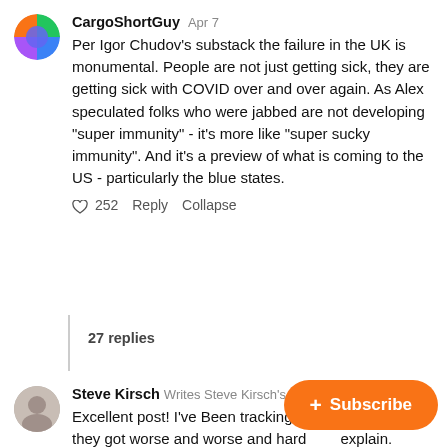CargoShortGuy  Apr 7
Per Igor Chudov's substack the failure in the UK is monumental. People are not just getting sick, they are getting sick with COVID over and over again. As Alex speculated folks who were jabbed are not developing "super immunity" - it's more like "super sucky immunity". And it's a preview of what is coming to the US - particularly the blue states.
252  Reply  Collapse
27 replies
Steve Kirsch  Writes Steve Kirsch's newsletter  Apr 7
Excellent post! I've Been tracking the UK numbers as they got worse and worse and hard to explain. Clearly, the better approa data.
[Figure (other): Orange Subscribe button overlay in the bottom right]